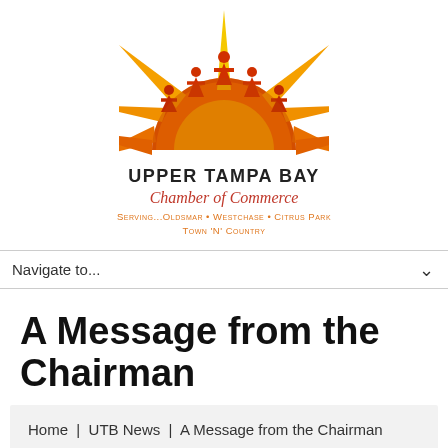[Figure (logo): Upper Tampa Bay Chamber of Commerce logo: a sunburst with stylized human figures in orange, red, and yellow tones, arranged in a semicircle above the organization name]
UPPER TAMPA BAY
Chamber of Commerce
Serving...Oldsmar • Westchase • Citrus Park
Town 'N' Country
Navigate to...
A Message from the Chairman
Home  |  UTB News  |  A Message from the Chairman